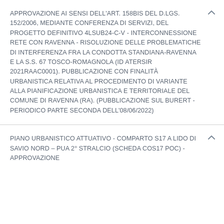APPROVAZIONE AI SENSI DELL'ART. 158BIS DEL D.LGS. 152/2006, MEDIANTE CONFERENZA DI SERVIZI, DEL PROGETTO DEFINITIVO 4LSUB24-C-V - INTERCONNESSIONE RETE CON RAVENNA - RISOLUZIONE DELLE PROBLEMATICHE DI INTERFERENZA FRA LA CONDOTTA STANDIANA-RAVENNA E LA S.S. 67 TOSCO-ROMAGNOLA (ID ATERSIR 2021RAAC0001). PUBBLICAZIONE CON FINALITÀ URBANISTICA RELATIVA AL PROCEDIMENTO DI VARIANTE ALLA PIANIFICAZIONE URBANISTICA E TERRITORIALE DEL COMUNE DI RAVENNA (RA). (PUBBLICAZIONE SUL BURERT - PERIODICO PARTE SECONDA DELL'08/06/2022)
PIANO URBANISTICO ATTUATIVO - COMPARTO S17 A LIDO DI SAVIO NORD – PUA 2° STRALCIO (SCHEDA COS17 POC) - APPROVAZIONE